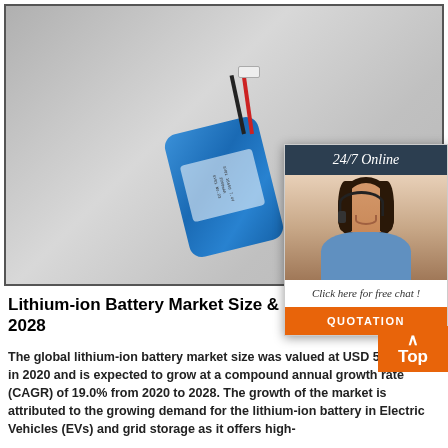[Figure (photo): A blue lithium-ion battery with red and black wires/connector on a gray background]
[Figure (photo): 24/7 Online chat widget with a woman wearing a headset and a QUOTATION button]
Lithium-ion Battery Market Size & Sh... 2021-2028
The global lithium-ion battery market size was valued at USD 53.6 billion in 2020 and is expected to grow at a compound annual growth rate (CAGR) of 19.0% from 2020 to 2028. The growth of the market is attributed to the growing demand for the lithium-ion battery in Electric Vehicles (EVs) and grid storage as it offers high-energy density solutions and light weight.